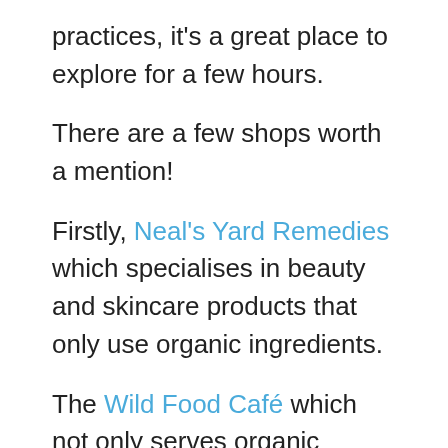practices, it's a great place to explore for a few hours.
There are a few shops worth a mention!
Firstly, Neal's Yard Remedies which specialises in beauty and skincare products that only use organic ingredients.
The Wild Food Café which not only serves organic produce but also hosts raw food cookery classes!
Jacob the Angel Café is great for breakfast, as is 26 Grains which uses